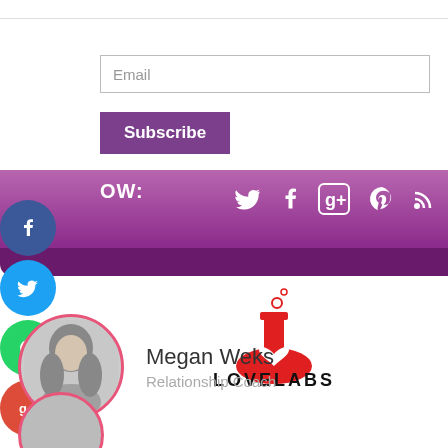Email
Subscribe
OW:
[Figure (logo): LoveLabs logo — red flask with heart inside and bubbles, black text LOVELABS below]
Megan Weks
Relationship Coach